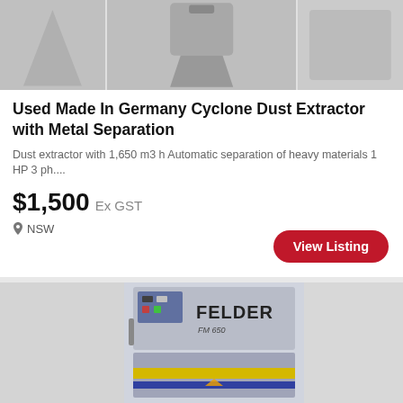[Figure (photo): Top image strip showing 3 partial photos of dust extractor equipment. Left panel has camera badge with '4'.]
Used Made In Germany Cyclone Dust Extractor with Metal Separation
Dust extractor with 1,650 m3 h Automatic separation of heavy materials 1 HP 3 ph....
$1,500 Ex GST
NSW
View Listing
[Figure (photo): Bottom partial listing card showing a Felder FM 650 wide belt sanding machine in gray with yellow safety stripe.]